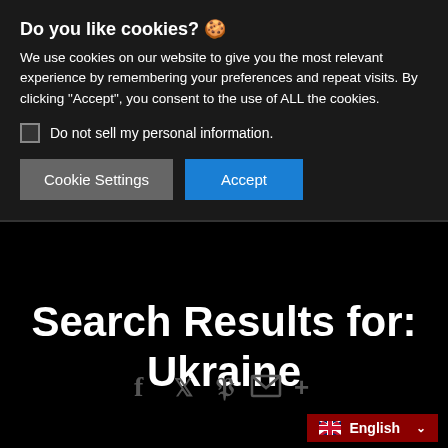Do you like cookies? 🍪
We use cookies on our website to give you the most relevant experience by remembering your preferences and repeat visits. By clicking "Accept", you consent to the use of ALL the cookies.
Do not sell my personal information.
Cookie Settings | Accept
Search Results for: Ukraine
[Figure (infographic): Social share icons: Facebook, Twitter, Pinterest, Email, Plus]
English